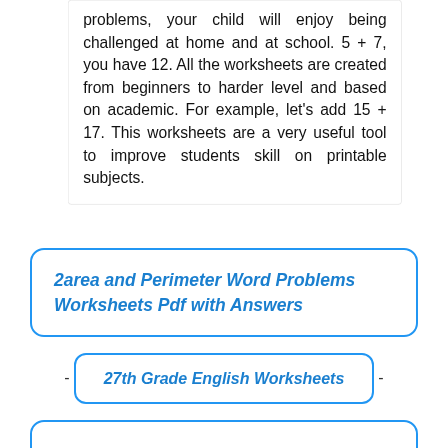problems, your child will enjoy being challenged at home and at school. 5 + 7, you have 12. All the worksheets are created from beginners to harder level and based on academic. For example, let's add 15 + 17. This worksheets are a very useful tool to improve students skill on printable subjects.
2area and Perimeter Word Problems Worksheets Pdf with Answers
27th Grade English Worksheets